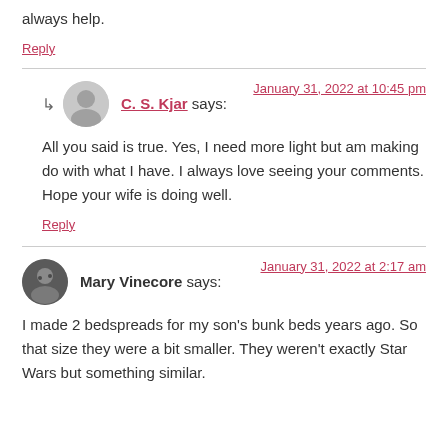always help.
Reply
C. S. Kjar says:
January 31, 2022 at 10:45 pm
All you said is true. Yes, I need more light but am making do with what I have. I always love seeing your comments. Hope your wife is doing well.
Reply
Mary Vinecore says:
January 31, 2022 at 2:17 am
I made 2 bedspreads for my son's bunk beds years ago. So that size they were a bit smaller. They weren't exactly Star Wars but something similar.